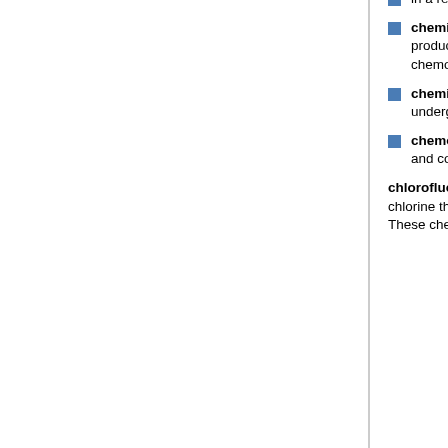in a release of additional heat and radical species that makes the reaction self-sustaining.
chemical autotrophs: organisms that use the external energy found in chemical compounds to produce food molecules. The process used to produce food by these organisms is known as chemosynthesis. Also see photosynthetic autotrophs.
chemical energy: energy stored in molecular bonds. The energy generated when a compound undergoes chemical combustion, decomposes, or transforms to produce new compounds.
chemosynthesis: a process in which organisms extract inorganic compounds from their environment and convert them into organic nutrient compounds without the use of sunlight. Also see photosynthesis.
chlorofluorocarbons (CFC): artificially produced compounds composed primarily of carbon, fluorine, and chlorine that were introduced in the mid-1930s, used in refrigerants, solvents and insulating foam material. These chemicals